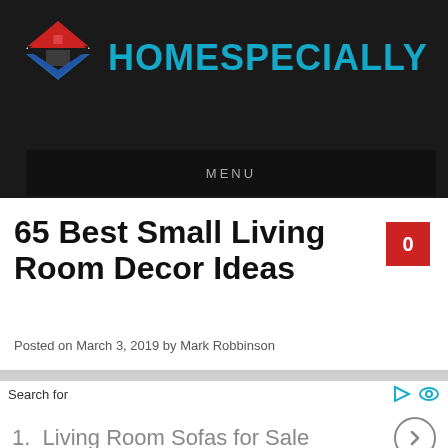[Figure (logo): HomeSpecially website logo: diamond/house icon in red and blue on dark background, with 'HOMESPECIALLY' text in cyan]
MENU
65 Best Small Living Room Decor Ideas
Posted on March 3, 2019 by Mark Robbinson
Search for
1.  Living Room Sofas for Sale